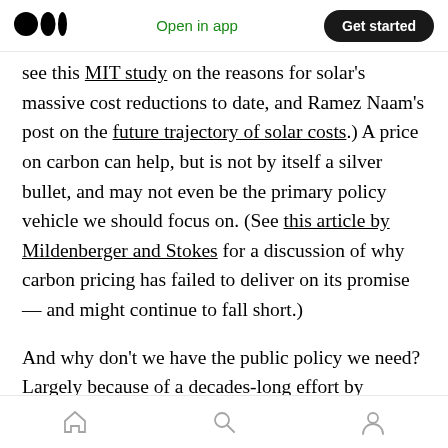Open in app  Get started
see this MIT study on the reasons for solar's massive cost reductions to date, and Ramez Naam's post on the future trajectory of solar costs.) A price on carbon can help, but is not by itself a silver bullet, and may not even be the primary policy vehicle we should focus on. (See this article by Mildenberger and Stokes for a discussion of why carbon pricing has failed to deliver on its promise — and might continue to fall short.)
And why don't we have the public policy we need? Largely because of a decades-long effort by